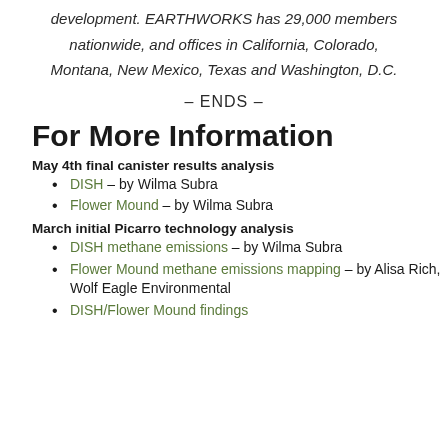development. EARTHWORKS has 29,000 members nationwide, and offices in California, Colorado, Montana, New Mexico, Texas and Washington, D.C.
– ENDS –
For More Information
May 4th final canister results analysis
DISH – by Wilma Subra
Flower Mound – by Wilma Subra
March initial Picarro technology analysis
DISH methane emissions – by Wilma Subra
Flower Mound methane emissions mapping – by Alisa Rich, Wolf Eagle Environmental
DISH/Flower Mound findings